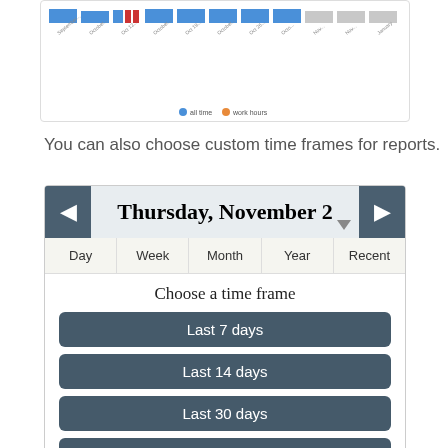[Figure (screenshot): Partial screenshot of a bar chart with blue and red bars and rotated x-axis labels, with a legend showing 'all time' and 'work hours' at the bottom.]
You can also choose custom time frames for reports.
[Figure (screenshot): Calendar widget showing 'Thursday, November 2' with navigation arrows, tabs for Day, Week, Month, Year, Recent, a 'Choose a time frame' heading, and buttons: Last 7 days, Last 14 days, Last 30 days, Last 45 days, Last 90 days.]